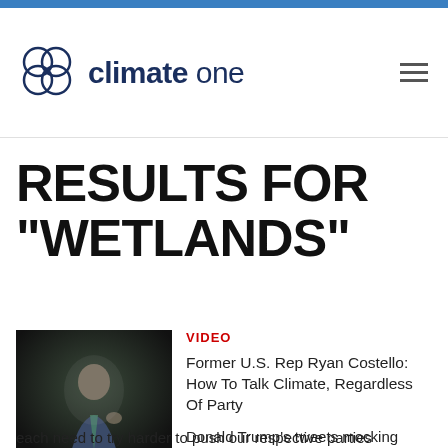climate one
RESULTS FOR "WETLANDS"
VIDEO
[Figure (photo): A man in a blue suit speaking on stage, gesturing with hands, dark background]
Former U.S. Rep Ryan Costello: How To Talk Climate, Regardless Of Party
Donald Trump's tweets mocking climate change are wrong, but we each need to try harder to push our respective parties